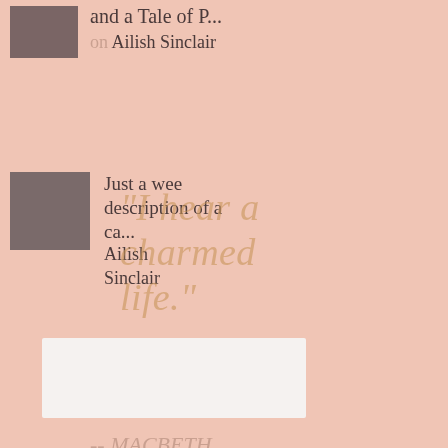and a Tale of P... on Ailish Sinclair
Just a wee description of a ca... Ailish Sinclair
[Figure (illustration): Overlaid italic quote text: "I hear a charmed life."]
WM
SHAKESPEARE
-- MACBETH
[Figure (other): White/light grey rectangular box at bottom of page]